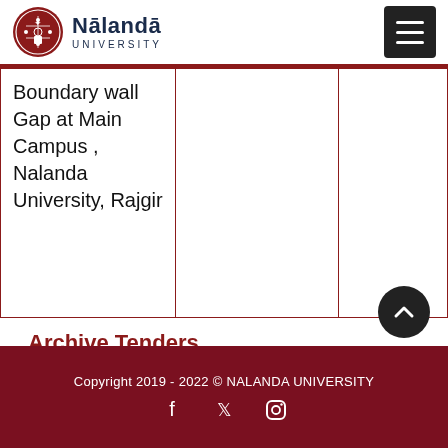Nalanda University
| Boundary wall Gap at Main Campus , Nalanda University, Rajgir |  |  |
Archive Tenders
Copyright 2019 - 2022 © NALANDA UNIVERSITY